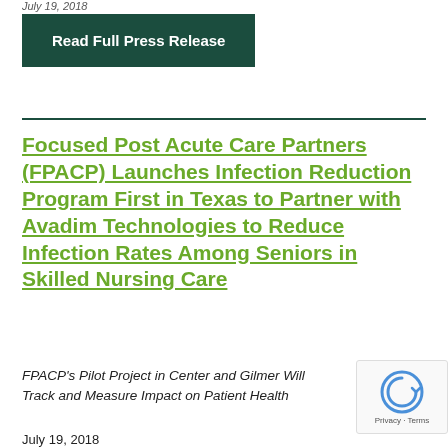July 19, 2018
Read Full Press Release
Focused Post Acute Care Partners (FPACP) Launches Infection Reduction Program First in Texas to Partner with Avadim Technologies to Reduce Infection Rates Among Seniors in Skilled Nursing Care
FPACP's Pilot Project in Center and Gilmer Will Track and Measure Impact on Patient Health
July 19, 2018